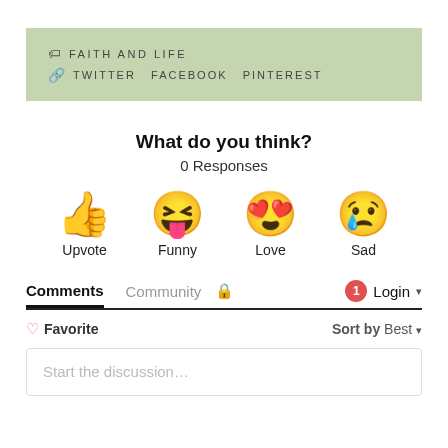FAITH AND LIFE  TWITTER  FACEBOOK  PINTEREST
What do you think?
0 Responses
[Figure (infographic): Four reaction emoji icons: thumbs up (Upvote), laughing face with tongue (Funny), heart-eyes face (Love), crying face (Sad)]
Comments  Community  🔒  Login
♡ Favorite  Sort by Best